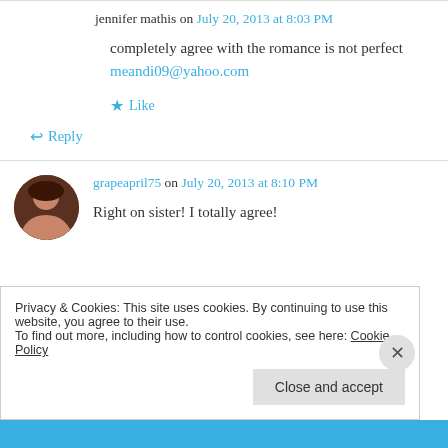jennifer mathis on July 20, 2013 at 8:03 PM
completely agree with the romance is not perfect
meandi09@yahoo.com
★ Like
↪ Reply
grapeapril75 on July 20, 2013 at 8:10 PM
Right on sister! I totally agree!
Privacy & Cookies: This site uses cookies. By continuing to use this website, you agree to their use.
To find out more, including how to control cookies, see here: Cookie Policy
Close and accept